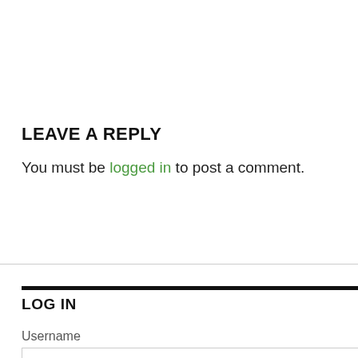LEAVE A REPLY
You must be logged in to post a comment.
LOG IN
Username
Password
Feedback
Translate »